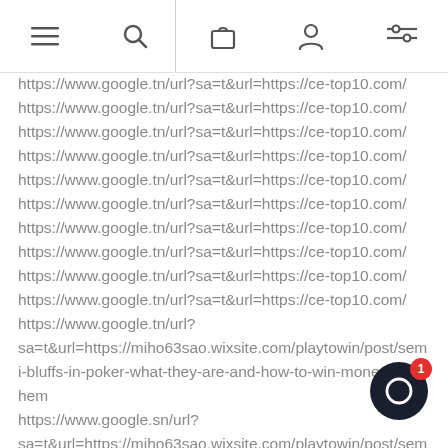navigation icons: menu, search, bag, account, filters
https://www.google.tn/url?sa=t&url=https://ce-top10.com/
https://www.google.tn/url?sa=t&url=https://ce-top10.com/
https://www.google.tn/url?sa=t&url=https://ce-top10.com/
https://www.google.tn/url?sa=t&url=https://ce-top10.com/
https://www.google.tn/url?sa=t&url=https://ce-top10.com/
https://www.google.tn/url?sa=t&url=https://ce-top10.com/
https://www.google.tn/url?sa=t&url=https://ce-top10.com/
https://www.google.tn/url?sa=t&url=https://ce-top10.com/
https://www.google.tn/url?sa=t&url=https://ce-top10.com/
https://www.google.tn/url?sa=t&url=https://ce-top10.com/
https://www.google.tn/url?sa=t&url=https://miho63sao.wixsite.com/playtowin/post/semi-bluffs-in-poker-what-they-are-and-how-to-win-money-with-them
https://www.google.sn/url?sa=t&url=https://miho63sao.wixsite.com/playtowin/post/semi-bluffs-in-poker-what-they-are-and-how-to-win-money-with-them
https://www.google.sn/url?